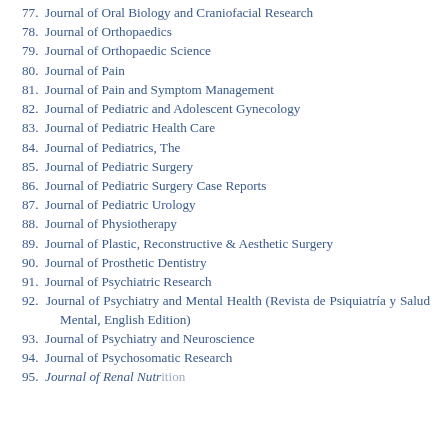77. Journal of Oral Biology and Craniofacial Research
78. Journal of Orthopaedics
79. Journal of Orthopaedic Science
80. Journal of Pain
81. Journal of Pain and Symptom Management
82. Journal of Pediatric and Adolescent Gynecology
83. Journal of Pediatric Health Care
84. Journal of Pediatrics, The
85. Journal of Pediatric Surgery
86. Journal of Pediatric Surgery Case Reports
87. Journal of Pediatric Urology
88. Journal of Physiotherapy
89. Journal of Plastic, Reconstructive & Aesthetic Surgery
90. Journal of Prosthetic Dentistry
91. Journal of Psychiatric Research
92. Journal of Psychiatry and Mental Health (Revista de Psiquiatría y Salud Mental, English Edition)
93. Journal of Psychiatry and Neuroscience
94. Journal of Psychosomatic Research
95. Journal of Renal Nutrition